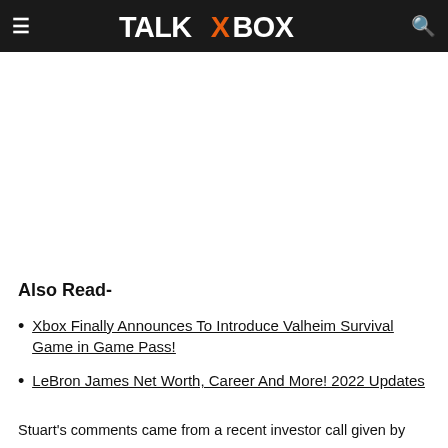TALKXBOX
Also Read-
Xbox Finally Announces To Introduce Valheim Survival Game in Game Pass!
LeBron James Net Worth, Career And More! 2022 Updates
Stuart's comments came from a recent investor call given by